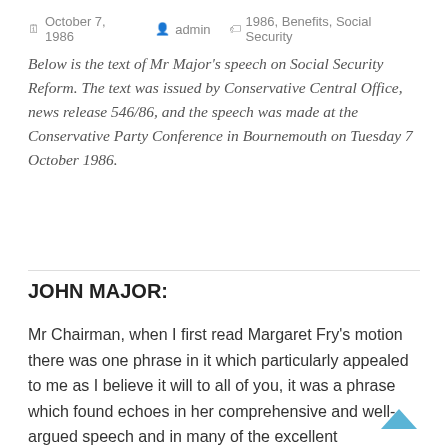October 7, 1986  admin  1986, Benefits, Social Security
Below is the text of Mr Major's speech on Social Security Reform. The text was issued by Conservative Central Office, news release 546/86, and the speech was made at the Conservative Party Conference in Bournemouth on Tuesday 7 October 1986.
JOHN MAJOR:
Mr Chairman, when I first read Margaret Fry's motion there was one phrase in it which particularly appealed to me as I believe it will to all of you, it was a phrase which found echoes in her comprehensive and well-argued speech and in many of the excellent contributions we have subsequently heard. It was implicit in what Brian